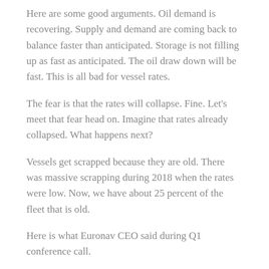Here are some good arguments. Oil demand is recovering. Supply and demand are coming back to balance faster than anticipated. Storage is not filling up as fast as anticipated. The oil draw down will be fast. This is all bad for vessel rates.
The fear is that the rates will collapse. Fine. Let’s meet that fear head on. Imagine that rates already collapsed. What happens next?
Vessels get scrapped because they are old. There was massive scrapping during 2018 when the rates were low. Now, we have about 25 percent of the fleet that is old.
Here is what Euronav CEO said during Q1 conference call.
“On average, for every quarter between now and the end of 2021, there were 27 VLCC equivalents due for special survey on vessels aged over 15 years of age. Why does